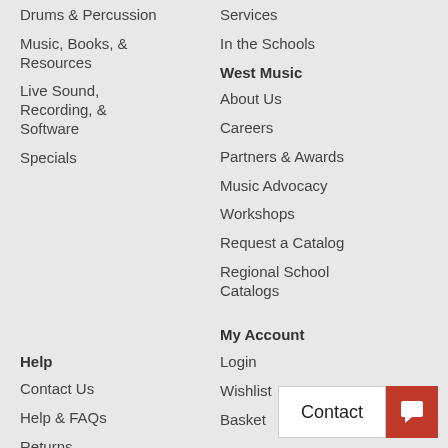Drums & Percussion
Music, Books, & Resources
Live Sound, Recording, & Software
Specials
Services
In the Schools
West Music
About Us
Careers
Partners & Awards
Music Advocacy
Workshops
Request a Catalog
Regional School Catalogs
Help
Contact Us
Help & FAQs
Returns
Ordering
Shipping
Promotions
My Account
Login
Wishlist
Basket
Shop by Brand